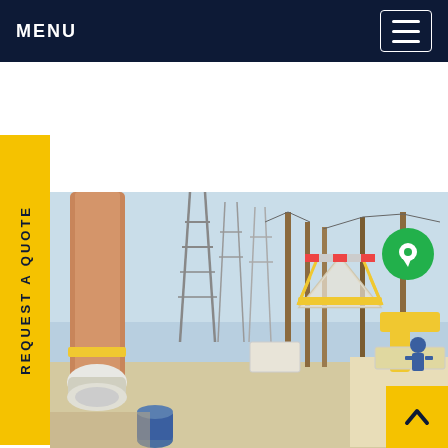MENU
REQUEST A QUOTE
[Figure (photo): Electrical substation with high-voltage equipment, transformers, transmission towers, and a worker on an elevated platform/lift operating yellow machinery. Industrial power infrastructure setting.]
[Figure (other): Green circular chat/message button icon]